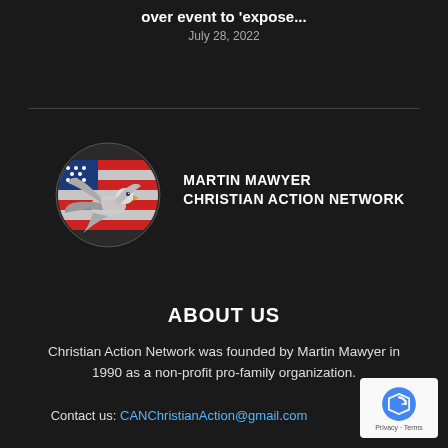over event to 'expose...
July 28, 2022
[Figure (logo): Martin Mawyer Christian Action Network logo — eagle/dove with American flag circle motif and organization name in white bold uppercase text]
ABOUT US
Christian Action Network was founded by Martin Mawyer in 1990 as a non-profit pro-family organization.
Contact us: CANChristianAction@gmail.com